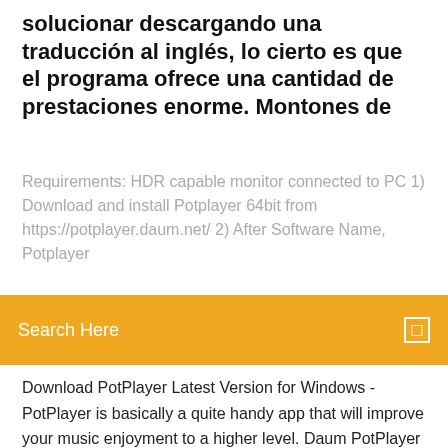solucionar descargando una traducción al inglés, lo cierto es que el programa ofrece una cantidad de prestaciones enorme. Montones de
Requirements: HDR capable monitor connected to PC 1) Download and install Potplayer 64bit from https://potplayer.daum.net/ 2) After Software Name. Potplayer
Search Here
Download PotPlayer Latest Version for Windows - PotPlayer is basically a quite handy app that will improve your music enjoyment to a higher level. Daum PotPlayer for Mac OS X, download best alternative solutions carefully chosen by movies and tunes with the QuickTime app (Mac's default media player. Windows Media Player by Microsoft Corporation is a famous multimedia file  Apr 9, 2018 To download to your desktop sign into Chrome and enable sync or send "Play in PotPlayer" is a browser extension to send all detectable